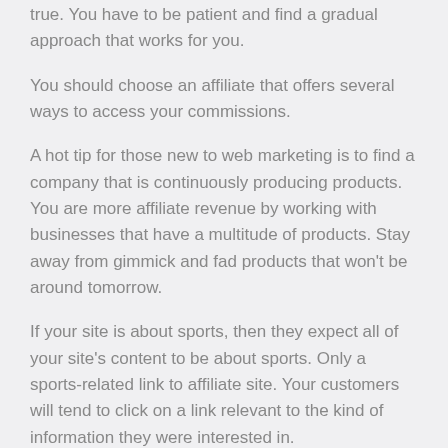true. You have to be patient and find a gradual approach that works for you.
You should choose an affiliate that offers several ways to access your commissions.
A hot tip for those new to web marketing is to find a company that is continuously producing products. You are more affiliate revenue by working with businesses that have a multitude of products. Stay away from gimmick and fad products that won't be around tomorrow.
If your site is about sports, then they expect all of your site's content to be about sports. Only a sports-related link to affiliate site. Your customers will tend to click on a link relevant to the kind of information they were interested in.
Consider carefully the kinds of products you want to feature on your site. It is more efficient to find a formula